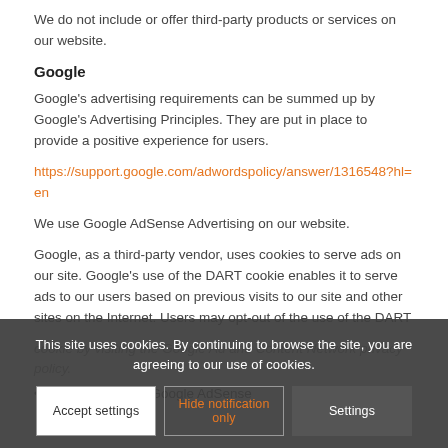We do not include or offer third-party products or services on our website.
Google
Google's advertising requirements can be summed up by Google's Advertising Principles. They are put in place to provide a positive experience for users.
https://support.google.com/adwordspolicy/answer/1316548?hl=en
We use Google AdSense Advertising on our website.
Google, as a third-party vendor, uses cookies to serve ads on our site. Google's use of the DART cookie enables it to serve ads to our users based on previous visits to our site and other sites on the Internet. Users may opt-out of the use of the DART cookie by visiting the Google Ad and Content Network privacy policy.
• Remarketing with Google AdSense
This site uses cookies. By continuing to browse the site, you are agreeing to our use of cookies.